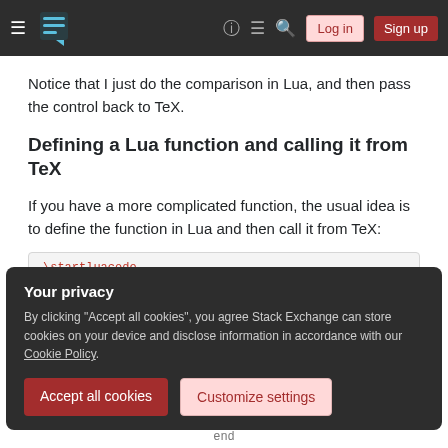Stack Exchange navigation bar with hamburger menu, logo, help, chat, search icons, Log in and Sign up buttons
Notice that I just do the comparison in Lua, and then pass the control back to TeX.
Defining a Lua function and calling it from TeX
If you have a more complicated function, the usual idea is to define the function in Lua and then call it from TeX:
[Figure (screenshot): Code box showing start of \startluacode block]
Your privacy
By clicking "Accept all cookies", you agree Stack Exchange can store cookies on your device and disclose information in accordance with our Cookie Policy.
Accept all cookies | Customize settings